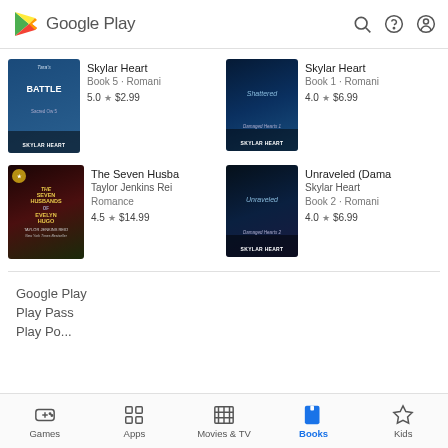Google Play
[Figure (screenshot): Book listing: Skylar Heart Book 5, Romance, 5.0 star, $2.99]
[Figure (screenshot): Book listing: Skylar Heart Book 1, Romance, 4.0 star, $6.99]
[Figure (screenshot): Book listing: The Seven Husbands of Evelyn Hugo, Taylor Jenkins Rei, Romance, 4.5 star, $14.99]
[Figure (screenshot): Book listing: Unraveled (Damaged Hearts), Skylar Heart, Book 2, Romance, 4.0 star, $6.99]
Google Play
Play Pass
Games  Apps  Movies & TV  Books  Kids